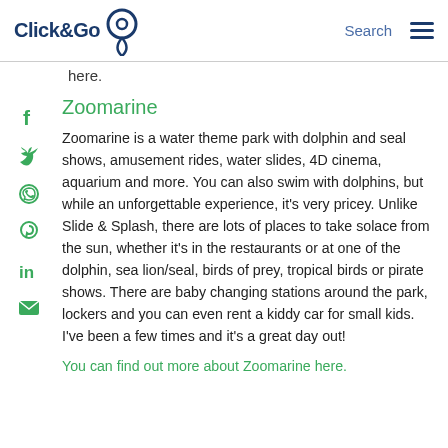Click&Go [logo] Search [menu]
here.
Zoomarine
Zoomarine is a water theme park with dolphin and seal shows, amusement rides, water slides, 4D cinema, aquarium and more. You can also swim with dolphins, but while an unforgettable experience, it’s very pricey. Unlike Slide & Splash, there are lots of places to take solace from the sun, whether it’s in the restaurants or at one of the dolphin, sea lion/seal, birds of prey, tropical birds or pirate shows. There are baby changing stations around the park, lockers and you can even rent a kiddy car for small kids. I’ve been a few times and it’s a great day out!
You can find out more about Zoomarine here.